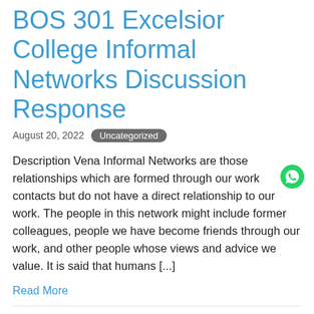BOS 301 Excelsior College Informal Networks Discussion Response
August 20, 2022  Uncategorized
Description Vena Informal Networks are those relationships which are formed through our work contacts but do not have a direct relationship to our work. The people in this network might include former colleagues, people we have become friends through our work, and other people whose views and advice we value. It is said that humans [...]
Read More
PU Emergency Preparedness Mental Illness and Disaster